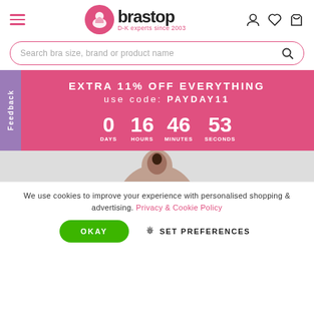[Figure (logo): Brastop logo with pink circle containing a woman silhouette, brand name 'brastop' in bold black, tagline 'D-K experts since 2003' in pink]
Search bra size, brand or product name
EXTRA 11% OFF EVERYTHING
use code: PAYDAY11
0 DAYS 16 HOURS 46 MINUTES 53 SECONDS
[Figure (photo): Partial head/shoulders of a person visible at the bottom of the pink banner area]
We use cookies to improve your experience with personalised shopping & advertising. Privacy & Cookie Policy
OKAY
SET PREFERENCES